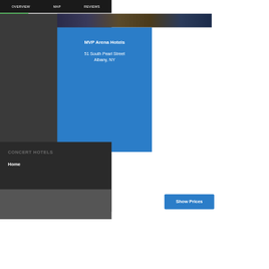OVERVIEW   MAP   REVIEWS
[Figure (screenshot): Blue info card showing MVP Arena Hotels at 51 South Pearl Street Albany, NY with a right arrow chevron on the right side and a photo strip at the top]
CONCERT HOTELS
Home
Show Prices